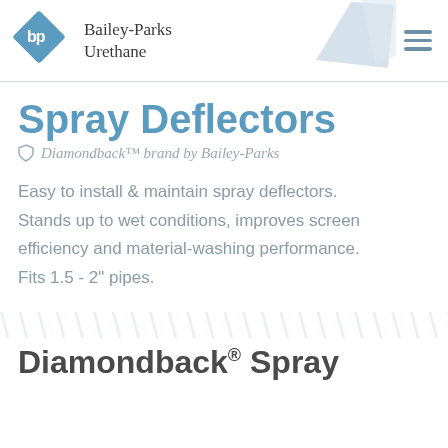Bailey-Parks Urethane
Spray Deflectors
Diamondback™ brand by Bailey-Parks
Easy to install & maintain spray deflectors. Stands up to wet conditions, improves screen efficiency and material-washing performance. Fits 1.5 - 2" pipes.
[Figure (illustration): Partial image of a spray deflector product in light grey/blue tones, shown in the top-right corner of the header area.]
Diamondback® Spray